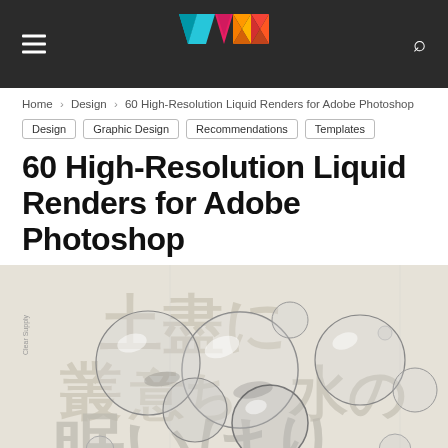WAKC logo, hamburger menu, search icon
Home › Design › 60 High-Resolution Liquid Renders for Adobe Photoshop
Design
Graphic Design
Recommendations
Templates
60 High-Resolution Liquid Renders for Adobe Photoshop
[Figure (photo): High-resolution liquid render artwork featuring reflective glass/liquid bubbles overlaid on Japanese text typography on a light beige background. Watermark reads 'Clear Supply'.]
This website uses cookies to improve your experience. By